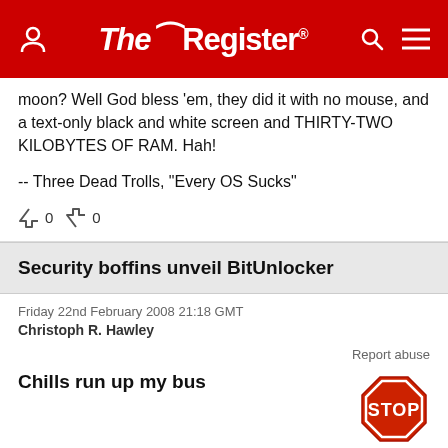The Register
moon? Well God bless 'em, they did it with no mouse, and a text-only black and white screen and THIRTY-TWO KILOBYTES OF RAM. Hah!

-- Three Dead Trolls, "Every OS Sucks"
Security boffins unveil BitUnlocker
Friday 22nd February 2008 21:18 GMT
Christoph R. Hawley
Report abuse
Chills run up my bus
[Figure (illustration): Red octagonal STOP sign]
Gotta love old-tech approaches to data extraction. The cooling thing works much better than you might guess; back when CirKitChill was (legally) sold in cans, a grad student demonstrated by stopping the CPU clock